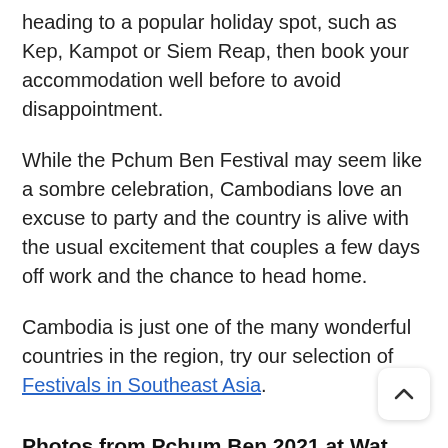heading to a popular holiday spot, such as Kep, Kampot or Siem Reap, then book your accommodation well before to avoid disappointment.
While the Pchum Ben Festival may seem like a sombre celebration, Cambodians love an excuse to party and the country is alive with the usual excitement that couples a few days off work and the chance to head home.
Cambodia is just one of the many wonderful countries in the region, try our selection of Festivals in Southeast Asia.
Photos from Pchum Ben 2021 at Wat Langka, Phnom Penh